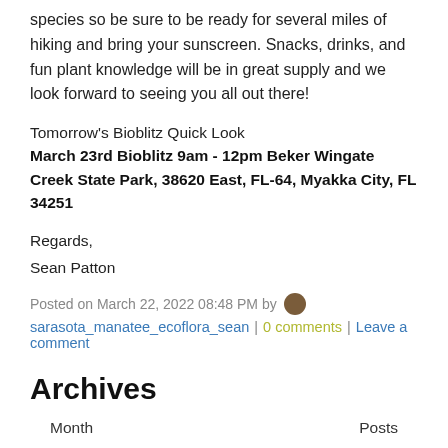species so be sure to be ready for several miles of hiking and bring your sunscreen. Snacks, drinks, and fun plant knowledge will be in great supply and we look forward to seeing you all out there!
Tomorrow's Bioblitz Quick Look
March 23rd Bioblitz 9am - 12pm Beker Wingate Creek State Park, 38620 East, FL-64, Myakka City, FL 34251
Regards,
Sean Patton
Posted on March 22, 2022 08:48 PM by [avatar]
sarasota_manatee_ecoflora_sean | 0 comments | Leave a comment
Archives
| Month | Posts |
| --- | --- |
| August 2022 | 1 |
| July 2022 | 1 |
| June 2022 | 1 |
| May 2022 | 4 |
| April 2022 | 4 |